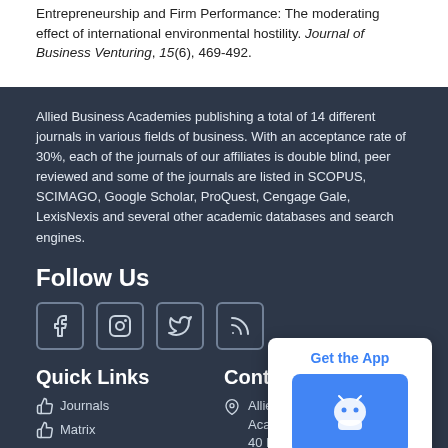Entrepreneurship and Firm Performance: The moderating effect of international environmental hostility. Journal of Business Venturing, 15(6), 469-492.
Allied Business Academies publishing a total of 14 different journals in various fields of business. With an acceptance rate of 30%, each of the journals of our affiliates is double blind, peer reviewed and some of the journals are listed in SCOPUS, SCIMAGO, Google Scholar, ProQuest, Cengage Gale, LexisNexis and several other academic databases and search engines.
Follow Us
[Figure (other): Social media icons: Facebook, Instagram, Twitter, RSS feed]
Quick Links
Journals
Matrix
Contact I[nformation]
Allied Business [Academies], 40 Bloomsbury Way, Lower Ground Floor
[Figure (other): Get the App popup with Android app download button]